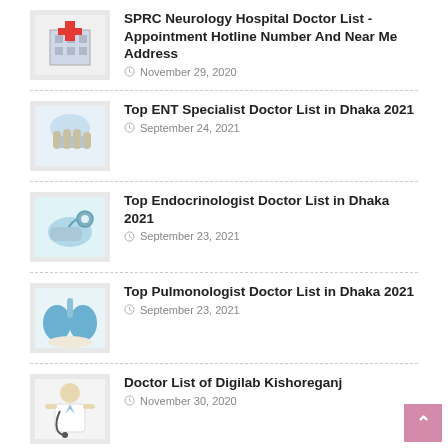SPRC Neurology Hospital Doctor List - Appointment Hotline Number And Near Me Address  November 29, 2020
Top ENT Specialist Doctor List in Dhaka 2021  September 24, 2021
Top Endocrinologist Doctor List in Dhaka 2021  September 23, 2021
Top Pulmonologist Doctor List in Dhaka 2021  September 23, 2021
Doctor List of Digilab Kishoreganj  November 30, 2020
Salauddin Specialized Hospital Doctor List - Appointment Hotline Number And Near Me Address  November 30, 2020